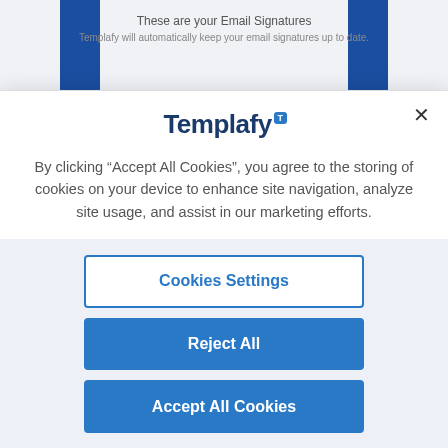These are your Email Signatures
Templafy will automatically keep your email signatures up to date.
[Figure (screenshot): Templafy cookie consent modal dialog with logo, cookie policy text, and three buttons: Cookies Settings, Reject All, Accept All Cookies]
By clicking “Accept All Cookies”, you agree to the storing of cookies on your device to enhance site navigation, analyze site usage, and assist in our marketing efforts.
Cookies Settings
Reject All
Accept All Cookies